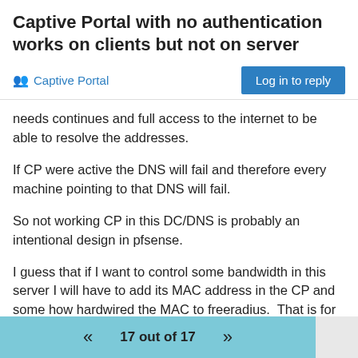Captive Portal with no authentication works on clients but not on server
Captive Portal
needs continues and full access to the internet to be able to resolve the addresses.
If CP were active the DNS will fail and therefore every machine pointing to that DNS will fail.
So not working CP in this DC/DNS is probably an intentional design in pfsense.
I guess that if I want to control some bandwidth in this server I will have to add its MAC address in the CP and some how hardwired the MAC to freeradius.  That is for another thread.
17 out of 17